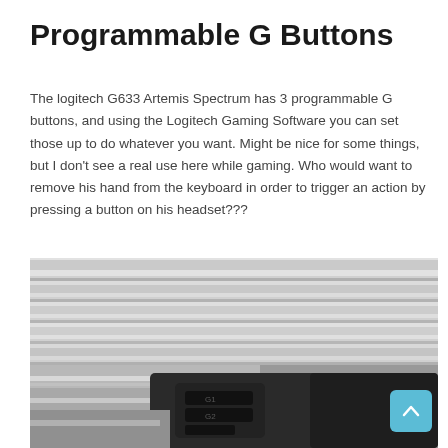Programmable G Buttons
The logitech G633 Artemis Spectrum has 3 programmable G buttons, and using the Logitech Gaming Software you can set those up to do whatever you want. Might be nice for some things, but I don't see a real use here while gaming. Who would want to remove his hand from the keyboard in order to trigger an action by pressing a button on his headset???
[Figure (photo): Close-up photo of a Logitech G633 Artemis Spectrum headset showing the G buttons on the earcup, with venetian blinds visible in the blurred background.]